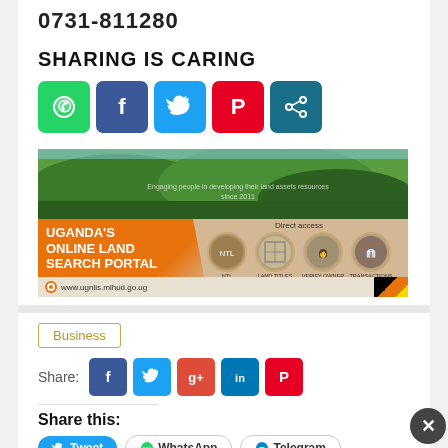0731-811280
SHARING IS CARING
[Figure (infographic): Row of social sharing icon buttons: WhatsApp (green), Facebook (dark blue), Twitter (light blue), Pinterest (red), Share (teal)]
[Figure (infographic): Advertisement banner for Uganda's Online Land Search Portal at www.ugnlis.mlhud.go.ug, showing green hillside landscape and orange/tan portal branding with Direct access section showing circular profile images]
Business
Share:
[Figure (infographic): Row of social share buttons: Facebook (blue), Twitter (light blue), Google+ (red), LinkedIn (blue), Pinterest (red)]
Share this:
[Figure (infographic): Row of share buttons: Tweet (blue), WhatsApp (white/outlined), Telegram (teal/outlined)]